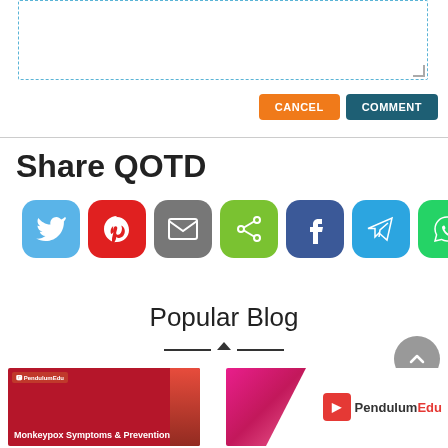[Figure (screenshot): A dashed-border textarea input box for entering a comment]
[Figure (screenshot): CANCEL (orange) and COMMENT (dark teal) buttons]
Share QOTD
[Figure (infographic): Row of seven social share icon buttons: Twitter (blue), Pinterest (red), Email (gray), Share (green), Facebook (dark blue), Telegram (light blue), WhatsApp (green)]
Popular Blog
[Figure (illustration): Decorative horizontal line with upward triangle in center]
[Figure (screenshot): Scroll-to-top circular gray button with upward chevron]
[Figure (photo): Blog thumbnail showing 'Monkeypox Symptoms & Prevention' on red background with PendulumEdu logo]
[Figure (photo): Blog thumbnail on right side showing PendulumEdu logo with colorful abstract design]